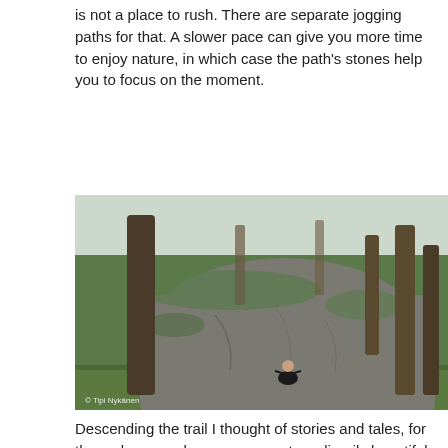is not a place to rush. There are separate jogging paths for that. A slower pace can give you more time to enjoy nature, in which case the path's stones help you to focus on the moment.
[Figure (photo): A person sitting cross-legged in a meditative pose in front of a massive moss-covered boulder in a forest. Tall conifer trees surround the scene. Watermark reads '© Tipi Nykänen'.]
Descending the trail I thought of stories and tales, for the rocks around me were so extraordinarily beautiful. Daylight